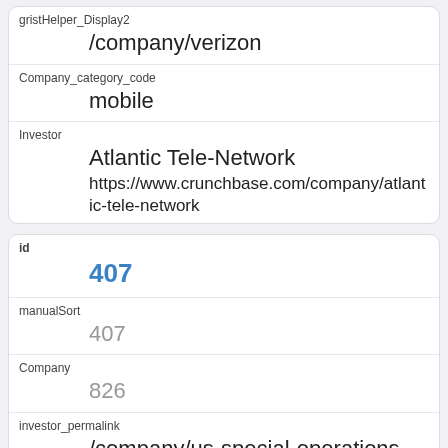| gristHelper_Display2 | /company/verizon |
| Company_category_code | mobile |
| Investor | Atlantic Tele-Network
https://www.crunchbase.com/company/atlantic-tele-network |
| id | 407 |
| manualSort | 407 |
| Company | 826 |
| investor_permalink | /company/us-special-operations-command |
| investor_name | US Special Operations Command |
| investor_category_code |  |